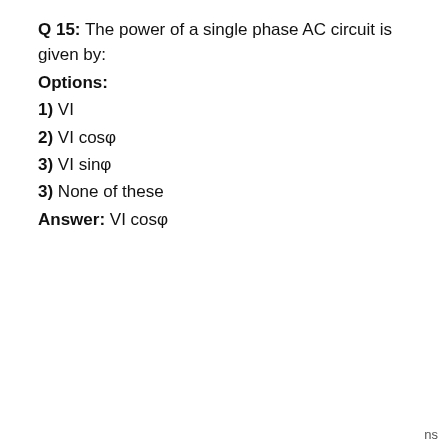Q 15: The power of a single phase AC circuit is given by:
Options:
1) VI
2) VI cosφ
3) VI sinφ
3) None of these
Answer: VI cosφ
ns